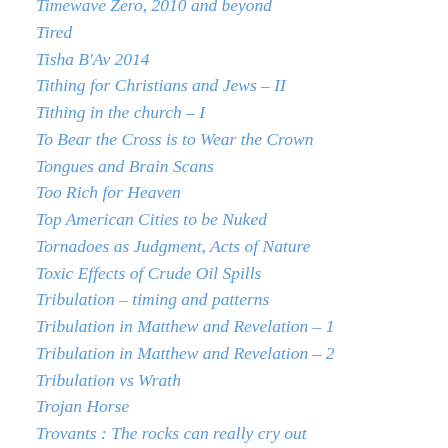Timewave Zero, 2010 and beyond
Tired
Tisha B'Av 2014
Tithing for Christians and Jews – II
Tithing in the church – I
To Bear the Cross is to Wear the Crown
Tongues and Brain Scans
Too Rich for Heaven
Top American Cities to be Nuked
Tornadoes as Judgment, Acts of Nature
Toxic Effects of Crude Oil Spills
Tribulation – timing and patterns
Tribulation in Matthew and Revelation – 1
Tribulation in Matthew and Revelation – 2
Tribulation vs Wrath
Trojan Horse
Trovants : The rocks can really cry out
True or False Apostles?
Tsunami dreams/ visions – Summaries
Tsunami Risk for the East Coast of the USA